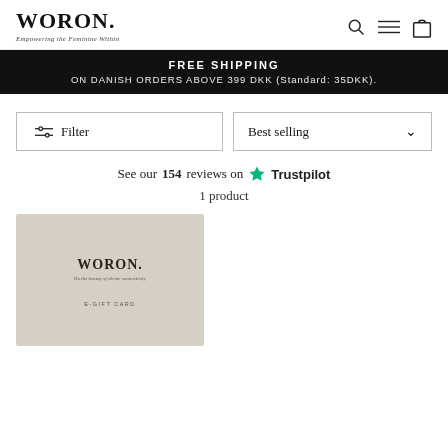WORON. Empowering the Feminine Within
FREE SHIPPING ON DANISH ORDERS ABOVE 399 DKK (Standard: 35DKK).
Filter
Best selling
See our 154 reviews on Trustpilot
1 product
[Figure (photo): WORON. e-gift card on a beige/taupe background with logo and tagline]